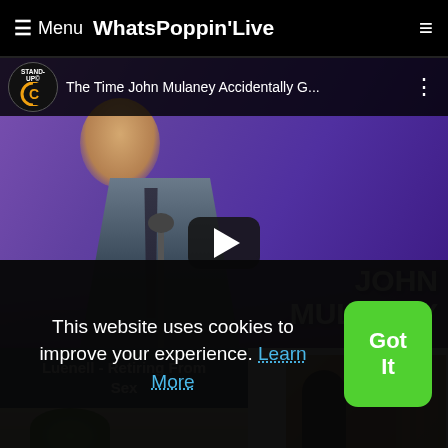≡ Menu WhatsPoppin'Live
[Figure (screenshot): YouTube-style video thumbnail showing John Mulaney comedy special titled 'The Time John Mulaney Accidentally G...' with a play button overlay. Stand-Up logo and Comedy Central C logo visible. Text 'JOHN MULANEY' in white bold on right side.]
Luenell - Retiring From Sex
[Figure (photo): Thumbnail image showing a green-colored figure, partially visible]
[Figure (photo): Thumbnail image showing a dark silhouette of a person against warm-toned background]
This website uses cookies to improve your experience. Learn More
Got It